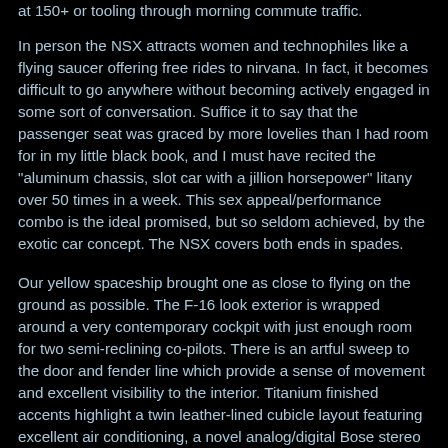at 150+ or tooling through morning commute traffic.
In person the NSX attracts women and technophiles like a flying saucer offering free rides to nirvana. In fact, it becomes difficult to go anywhere without becoming actively engaged in some sort of conversation. Suffice it to say that the passenger seat was graced by more lovelies than I had room for in my little black book, and I must have recited the "aluminum chassis, slot car with a jillion horsepower" litany over 50 times in a week. This sex appeal/performance combo is the ideal promised, but so seldom achieved, by the exotic car concept. The NSX covers both ends in spades.
Our yellow spaceship brought one as close to flying on the ground as possible. The F-16 look exterior is wrapped around a very contemporary cockpit with just enough room for two semi-reclining co-pilots. There is an artful sweep to the door and fender line which provide a sense of movement and excellent visibility to the interior. Titanium finished accents highlight a twin leather-lined cubicle layout featuring excellent air conditioning, a novel analog/digital Bose stereo and a very professional instrument layout. From shifter to